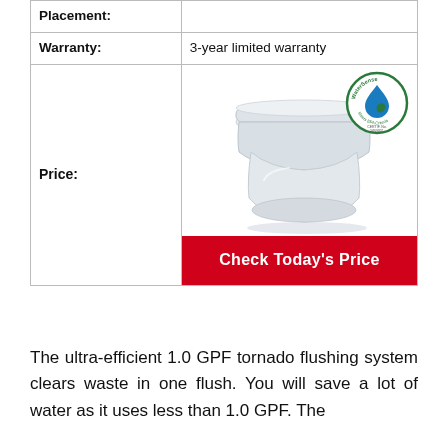| Placement: |  |
| Warranty: | 3-year limited warranty |
| Price: | [Image of toilet with WaterSense badge] Check Today's Price |
[Figure (photo): White modern one-piece toilet with integrated bidet seat/washlet, shown from a three-quarter front angle on white background. WaterSense certified badge shown in upper right of cell.]
The ultra-efficient 1.0 GPF tornado flushing system clears waste in one flush. You will save a lot of water as it uses less than 1.0 GPF. The